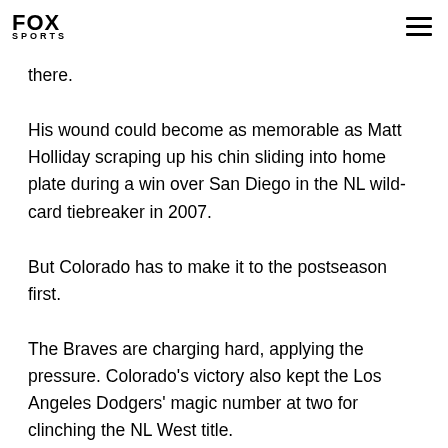FOX SPORTS
there.
His wound could become as memorable as Matt Holliday scraping up his chin sliding into home plate during a win over San Diego in the NL wild-card tiebreaker in 2007.
But Colorado has to make it to the postseason first.
The Braves are charging hard, applying the pressure. Colorado's victory also kept the Los Angeles Dodgers' magic number at two for clinching the NL West title.